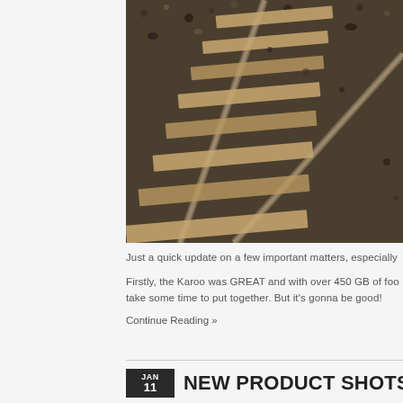[Figure (photo): Close-up aerial view of railway tracks with wooden sleepers/ties and gravel ballast, photographed from above at an angle]
Just a quick update on a few important matters, especially
Firstly, the Karoo was GREAT and with over 450 GB of foo take some time to put together. But it's gonna be good!
Continue Reading »
NEW PRODUCT SHOTS NO
JAN 11